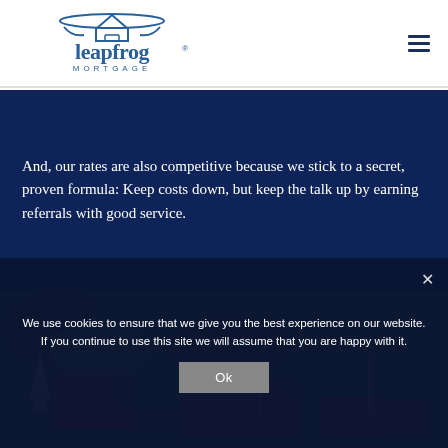[Figure (logo): Leapfrog Mortgage logo — frog silhouette over a house shape, with stylized text 'leapfrog' and 'MORTGAGE' below]
And, our rates are also competitive because we stick to a secret, proven formula: Keep costs down, but keep the talk up by earning referrals with good service.
[Figure (photo): Aerial photograph of a suburban area showing tree canopy and commercial/residential buildings with rooftops visible]
We use cookies to ensure that we give you the best experience on our website. If you continue to use this site we will assume that you are happy with it.